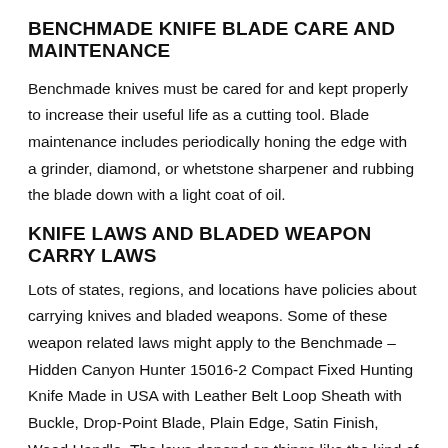BENCHMADE KNIFE BLADE CARE AND MAINTENANCE
Benchmade knives must be cared for and kept properly to increase their useful life as a cutting tool. Blade maintenance includes periodically honing the edge with a grinder, diamond, or whetstone sharpener and rubbing the blade down with a light coat of oil.
KNIFE LAWS AND BLADED WEAPON CARRY LAWS
Lots of states, regions, and locations have policies about carrying knives and bladed weapons. Some of these weapon related laws might apply to the Benchmade – Hidden Canyon Hunter 15016-2 Compact Fixed Hunting Knife Made in USA with Leather Belt Loop Sheath with Buckle, Drop-Point Blade, Plain Edge, Satin Finish, Wood Handle. The laws depend on things like the kind of knife, how the